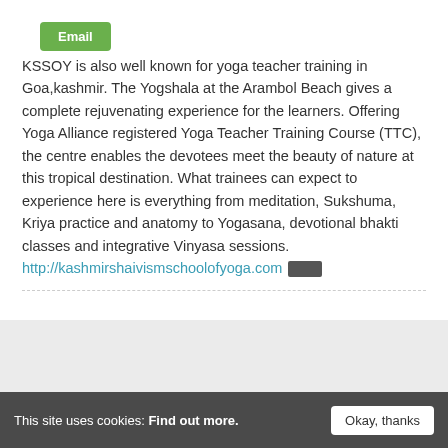Email
KSSOY is also well known for yoga teacher training in Goa,kashmir. The Yogshala at the Arambol Beach gives a complete rejuvenating experience for the learners. Offering Yoga Alliance registered Yoga Teacher Training Course (TTC), the centre enables the devotees meet the beauty of nature at this tropical destination. What trainees can expect to experience here is everything from meditation, Sukshuma, Kriya practice and anatomy to Yogasana, devotional bhakti classes and integrative Vinyasa sessions. http://kashmirshaivismschoolofyoga.com
This site uses cookies: Find out more.  Okay, thanks